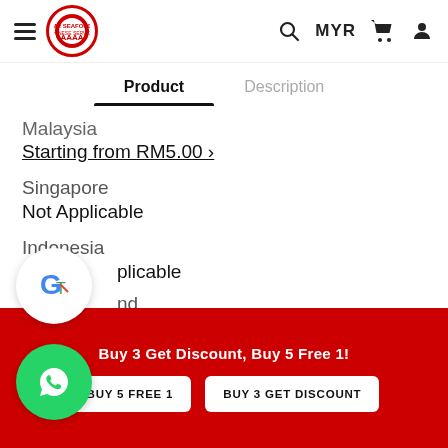[Figure (screenshot): Mobile e-commerce website header with hamburger menu, logo, search icon, MYR currency selector, cart icon, and user icon]
Product	Description
Malaysia
Starting from RM5.00 >
Singapore
Not Applicable
Indonesia
Not Applicable
Thailand
Not Applicable
...ade
Buy 3 Get Discount, Buy 5 Free 1!
BUY 5 FREE 1
BUY 3 GET DISCOUNT